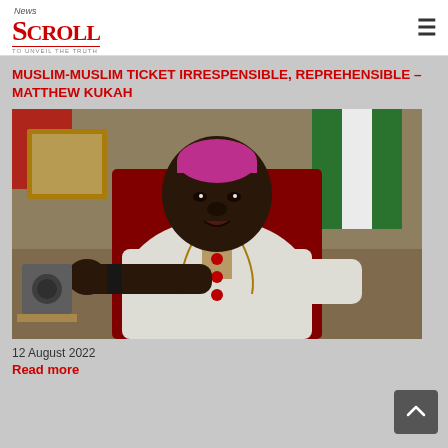News Scroll — TO UNVEIL THE TRUTH
MUSLIM-MUSLIM TICKET IRRESPONSIBLE, REPREHENSIBLE – MATTHEW KUKAH
[Figure (photo): Photo of Bishop Matthew Kukah seated in a chair, wearing white bishop robes and a pink zucchetto, pointing his finger forward, with a Nigerian flag visible in the background.]
12 August 2022
Read more